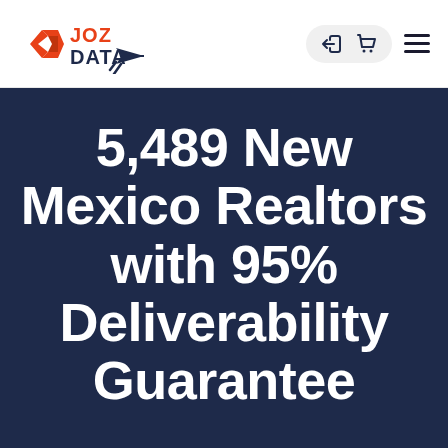[Figure (logo): JOZ DATA logo with orange diamond/chevron icon and dark navy text 'JOZ DATA' with a paper airplane arrow, plus navigation icons (login, cart, hamburger menu)]
5,489 New Mexico Realtors with 95% Deliverability Guarantee